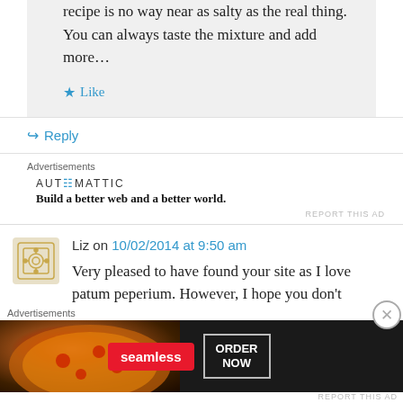recipe is no way near as salty as the real thing. You can always taste the mixture and add more…
★ Like
↳ Reply
Advertisements
[Figure (logo): Automattic logo with tagline: Build a better web and a better world.]
REPORT THIS AD
Liz on 10/02/2014 at 9:50 am
Very pleased to have found your site as I love patum peperium. However, I hope you don't
Advertisements
[Figure (infographic): Seamless food delivery advertisement banner: pizza image on left, seamless red logo, ORDER NOW button]